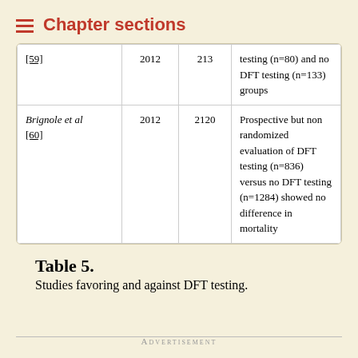Chapter sections
| Author | Year | N | Description |
| --- | --- | --- | --- |
| [59] | 2012 | 213 | testing (n=80) and no DFT testing (n=133) groups |
| Brignole et al [60] | 2012 | 2120 | Prospective but non randomized evaluation of DFT testing (n=836) versus no DFT testing (n=1284) showed no difference in mortality |
Table 5.
Studies favoring and against DFT testing.
Advertisement